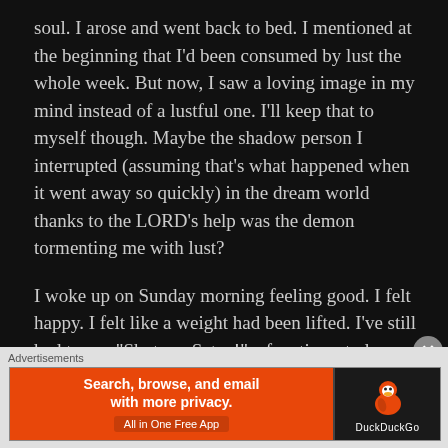soul. I arose and went back to bed. I mentioned at the beginning that I'd been consumed by lust the whole week. But now, I saw a loving image in my mind instead of a lustful one. I'll keep that to myself though. Maybe the shadow person I interrupted (assuming that's what happened when it went away so quickly) in the dream world thanks to the LORD's help was the demon tormenting me with lust?
I woke up on Sunday morning feeling good. I felt happy. I felt like a weight had been lifted. I've still had to say "Shut up, Satan!" a few times today because of intrusive thoughts, but nothing like last week. I know that this dream and the spiritual fight I got into had a major impact on my situation. The morning I woke up having a major feeling of...
Advertisements
[Figure (other): DuckDuckGo advertisement banner. Orange left section with bold white text 'Search, browse, and email with more privacy.' and a button 'All in One Free App'. Right black section with DuckDuckGo duck logo and brand name.]